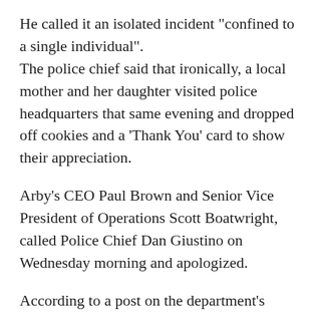He called it an isolated incident "confined to a single individual". The police chief said that ironically, a local mother and her daughter visited police headquarters that same evening and dropped off cookies and a 'Thank You' card to show their appreciation.
Arby's CEO Paul Brown and Senior Vice President of Operations Scott Boatwright, called Police Chief Dan Giustino on Wednesday morning and apologized.
According to a post on the department's Facebook page: "Both gentlemen assured Chief Giustino that the employee's behavior was unacceptable and not representative of the company's values. Chief Giustino was appreciative and accepted their apology and now